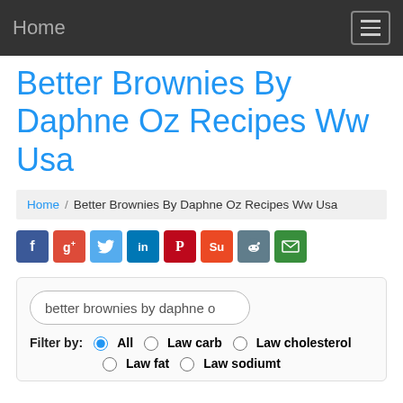Home
Better Brownies By Daphne Oz Recipes Ww Usa
Home / Better Brownies By Daphne Oz Recipes Ww Usa
[Figure (infographic): Social sharing icons row: Facebook (blue), Google+ (red), Twitter (light blue), LinkedIn (dark blue), Pinterest (dark red), StumbleUpon (orange-red), Reddit (grey-blue), Email (green)]
better brownies by daphne o
Filter by: All  Law carb  Law cholesterol  Law fat  Law sodiumt